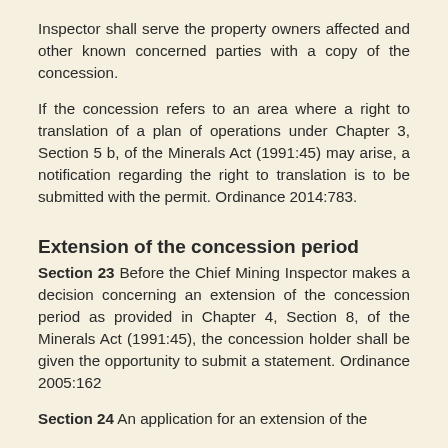Inspector shall serve the property owners affected and other known concerned parties with a copy of the concession.
If the concession refers to an area where a right to translation of a plan of operations under Chapter 3, Section 5 b, of the Minerals Act (1991:45) may arise, a notification regarding the right to translation is to be submitted with the permit. Ordinance 2014:783.
Extension of the concession period
Section 23 Before the Chief Mining Inspector makes a decision concerning an extension of the concession period as provided in Chapter 4, Section 8, of the Minerals Act (1991:45), the concession holder shall be given the opportunity to submit a statement. Ordinance 2005:162
Section 24 An application for an extension of the